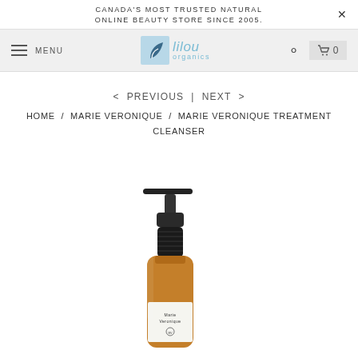CANADA'S MOST TRUSTED NATURAL ONLINE BEAUTY STORE SINCE 2005.
[Figure (logo): Lilou Organics logo with leaf icon and blue text]
< PREVIOUS | NEXT >
HOME / MARIE VERONIQUE / MARIE VERONIQUE TREATMENT CLEANSER
[Figure (photo): Amber glass pump bottle of Marie Veronique Treatment Cleanser with black pump and white label]